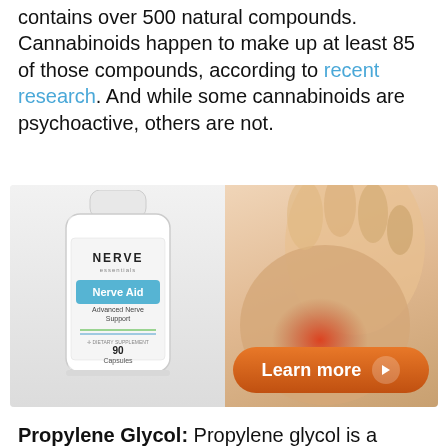contains over 500 natural compounds. Cannabinoids happen to make up at least 85 of those compounds, according to recent research. And while some cannabinoids are psychoactive, others are not.
[Figure (infographic): Advertisement for Nerve Aid supplement by Nerve Essentials showing a white supplement bottle (90 Capsules, Advanced Nerve Support) on the left, and a foot/ankle with a red pain indicator on the right, with an orange 'Learn more' button.]
Propylene Glycol: Propylene glycol is a thinning compound and is also the primary ingredient in a majority of nicotine-infused e-cigarette solutions.